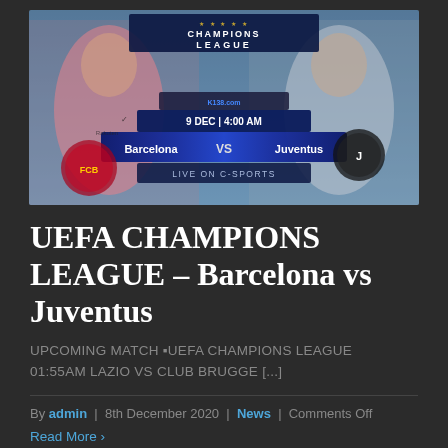[Figure (photo): Champions League match promo banner showing Barcelona vs Juventus, date 9 DEC | 4:00 AM, LIVE ON C-SPORTS, with players in background and team logos/crests on sides]
UEFA CHAMPIONS LEAGUE – Barcelona vs Juventus
UPCOMING MATCH UEFA CHAMPIONS LEAGUE 01:55AM Lazio vs Club Brugge [...]
By admin | 8th December 2020 | News | Comments Off
Read More >